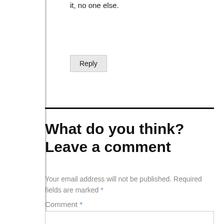it, no one else.
Reply
What do you think? Leave a comment
Your email address will not be published. Required fields are marked *
Comment *